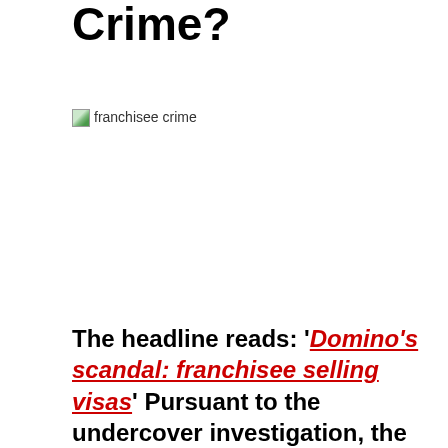Crime?
[Figure (photo): Image placeholder labeled 'franchisee crime']
The headline reads: 'Domino's scandal: franchisee selling visas' Pursuant to the undercover investigation, the